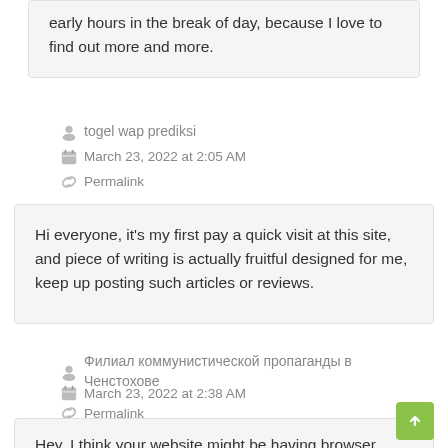early hours in the break of day, because I love to find out more and more.
togel wap prediksi
March 23, 2022 at 2:05 AM
Permalink
Hi everyone, it's my first pay a quick visit at this site, and piece of writing is actually fruitful designed for me, keep up posting such articles or reviews.
Филиал коммунистической пропаганды в Ченстохове
March 23, 2022 at 2:38 AM
Permalink
Hey, I think your website might be having browser compatibility issues. When I look at your